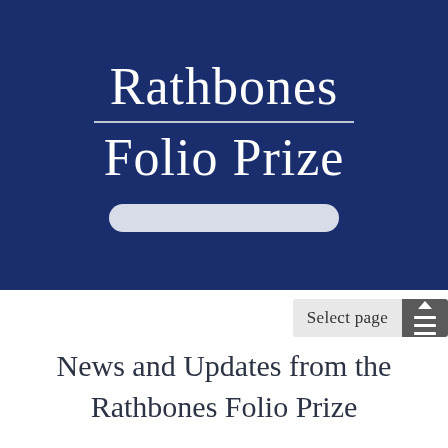[Figure (logo): Rathbones Folio Prize logo on dark navy blue background. Text reads 'Rathbones' in large serif font, a thin horizontal line, then 'Folio Prize' in large serif font, followed by a light grey pill/capsule shaped bar underneath.]
Select page
News and Updates from the Rathbones Folio Prize